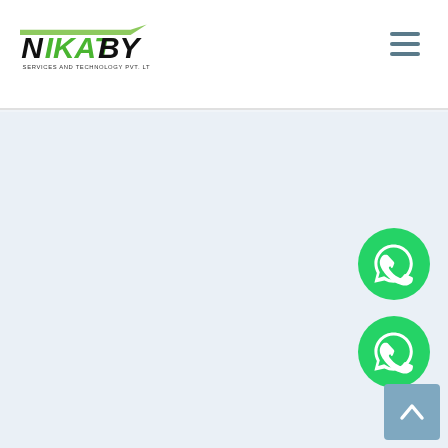[Figure (logo): Nikatby Services and Technology Pvt. Ltd. logo with green and black text and a green checkmark swoosh]
[Figure (other): Hamburger menu icon (three horizontal lines) in slate blue color]
[Figure (other): Main content area with light blue-grey background, mostly empty]
[Figure (other): WhatsApp floating button 1 - green circle with white WhatsApp phone/chat icon]
[Figure (other): WhatsApp floating button 2 - green circle with white WhatsApp phone/chat icon]
[Figure (other): Scroll to top button - slate blue square with white upward chevron arrow]